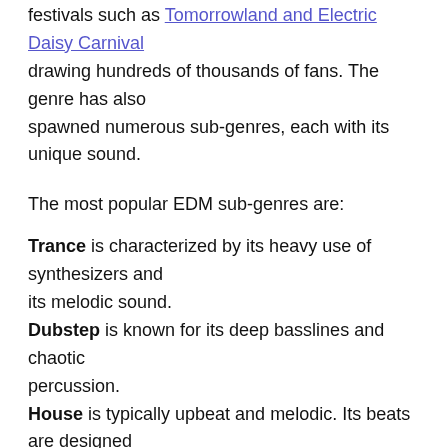festivals such as Tomorrowland and Electric Daisy Carnival drawing hundreds of thousands of fans. The genre has also spawned numerous sub-genres, each with its unique sound.
The most popular EDM sub-genres are:
Trance is characterized by its heavy use of synthesizers and its melodic sound.
Dubstep is known for its deep basslines and chaotic percussion.
House is typically upbeat and melodic. Its beats are designed for dancing
Trap is characterized by its heavy bass and 808 drums, often combined with ambient synth pads and sound effects to create a dark, atmospheric sound.
Techno is generally characterized by a repetitive 4/4 beat and strong bass lines. It is faster than most other forms of EDM.